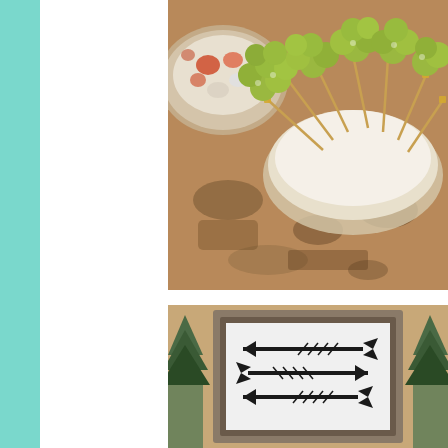[Figure (photo): Green grapes on skewers with gold-tipped toothpicks arranged in a white bowl on a granite countertop, with a salad bowl partially visible in background]
[Figure (photo): Framed artwork showing three decorative tribal-style arrows pointing in different directions, displayed on a table with small evergreen trees on either side]